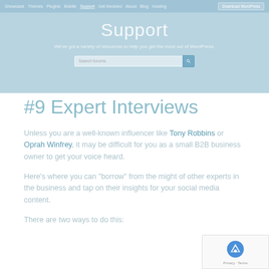[Figure (screenshot): WordPress.org support page header with navigation bar showing Showcase, Themes, Plugins, Mobile, Support (active), Get Involved, About, Blog, Hosting links, a Download WordPress button, a light blue hero banner with 'Support' heading, subtitle 'We've got a variety of resources to help you get the most out of WordPress.', and a search bar labeled 'Search forums']
#9 Expert Interviews
Unless you are a well-known influencer like Tony Robbins or Oprah Winfrey, it may be difficult for you as a small B2B business owner to get your voice heard.
Here's where you can "borrow" from the might of other experts in the business and tap on their insights for your social media content.
There are two ways to do this:
[Figure (other): reCAPTCHA badge in bottom right corner showing the reCAPTCHA logo and 'Privacy · Terms' text]